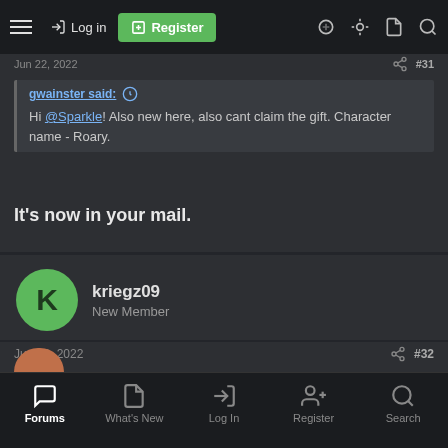Log in | Register
Jun 22, 2022  #31
gwainster said: Hi @Sparkle! Also new here, also cant claim the gift. Character name - Roary.
It's now in your mail.
kriegz09
New Member
Jun 22, 2022  #32
@Sparkle, I cant receive this gift as well. Character name : Callenhad, Thanks!
Forums | What's New | Log In | Register | Search